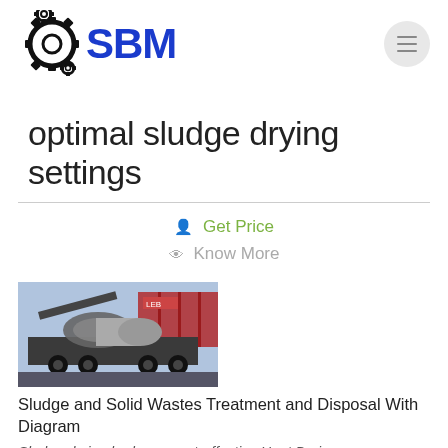SBM
optimal sludge drying settings
Get Price
Know More
[Figure (photo): Industrial mobile crushing/processing equipment on a truck, with shipping containers in background]
Sludge and Solid Wastes Treatment and Disposal With Diagram
Sludge drying beds are cost-effective Heat Drying